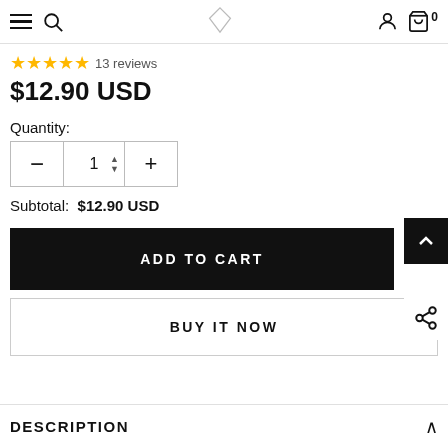Navigation bar with hamburger menu, search, logo, user icon, and cart (0)
★★★★★ 13 reviews
$12.90 USD
Quantity:
1
Subtotal:  $12.90 USD
ADD TO CART
BUY IT NOW
DESCRIPTION